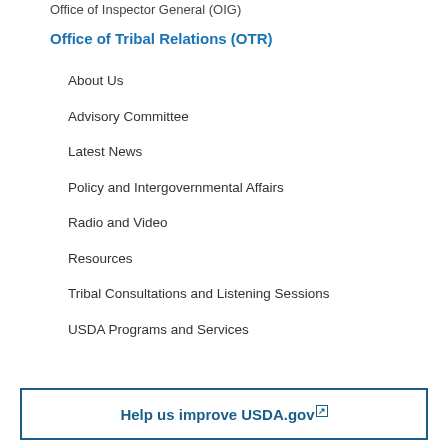Office of Inspector General (OIG)
Office of Tribal Relations (OTR)
About Us
Advisory Committee
Latest News
Policy and Intergovernmental Affairs
Radio and Video
Resources
Tribal Consultations and Listening Sessions
USDA Programs and Services
Help us improve USDA.gov